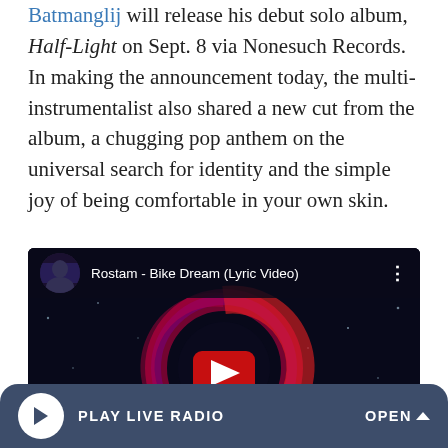Batmanglij will release his debut solo album, Half-Light on Sept. 8 via Nonesuch Records. In making the announcement today, the multi-instrumentalist also shared a new cut from the album, a chugging pop anthem on the universal search for identity and the simple joy of being comfortable in your own skin.
[Figure (screenshot): YouTube video embed showing 'Rostam - Bike Dream (Lyric Video)' with a dark space background featuring a circular abstract design and red YouTube play button]
PLAY LIVE RADIO    OPEN